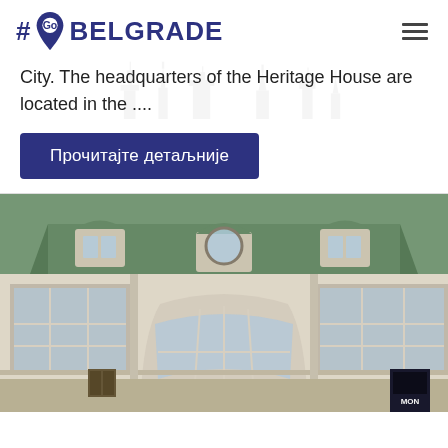#Go Belgrade
City. The headquarters of the Heritage House are located in the ....
Прочитајте детаљније
[Figure (photo): Exterior view of a historic Belgrade building with a green mansard roof, dormer windows, large glass windows on the facade, and classical architectural details. Blue sky in the background.]